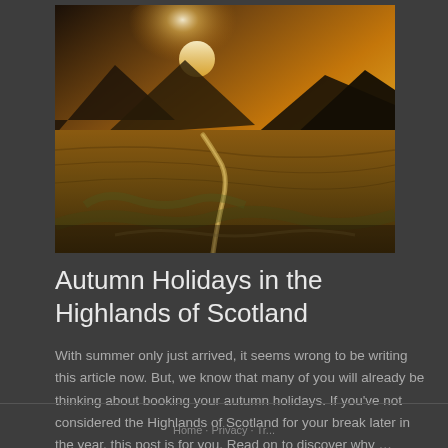[Figure (photo): Aerial/landscape photograph of Scottish Highlands at sunset, showing a winding road through golden moorland with dramatic mountains and clouds in the background.]
Autumn Holidays in the Highlands of Scotland
With summer only just arrived, it seems wrong to be writing this article now. But, we know that many of you will already be thinking about booking your autumn holidays. If you've not considered the Highlands of Scotland for your break later in the year, this post is for you. Read on to discover why …
Home · Privacy · Tr...